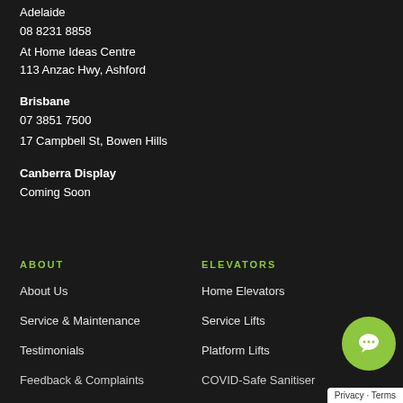Adelaide
08 8231 8858
At Home Ideas Centre
113 Anzac Hwy, Ashford
Brisbane
07 3851 7500
17 Campbell St, Bowen Hills
Canberra Display
Coming Soon
ABOUT
ELEVATORS
About Us
Home Elevators
Service & Maintenance
Service Lifts
Testimonials
Platform Lifts
Feedback & Complaints
COVID-Safe Sanitiser